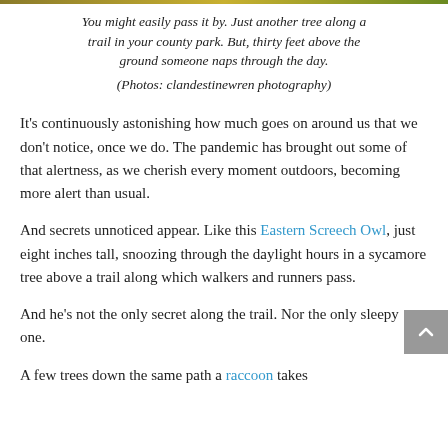You might easily pass it by. Just another tree along a trail in your county park. But, thirty feet above the ground someone naps through the day.
(Photos: clandestinewren photography)
It's continuously astonishing how much goes on around us that we don't notice, once we do. The pandemic has brought out some of that alertness, as we cherish every moment outdoors, becoming more alert than usual.
And secrets unnoticed appear. Like this Eastern Screech Owl, just eight inches tall, snoozing through the daylight hours in a sycamore tree above a trail along which walkers and runners pass.
And he's not the only secret along the trail. Nor the only sleepy one.
A few trees down the same path a raccoon takes